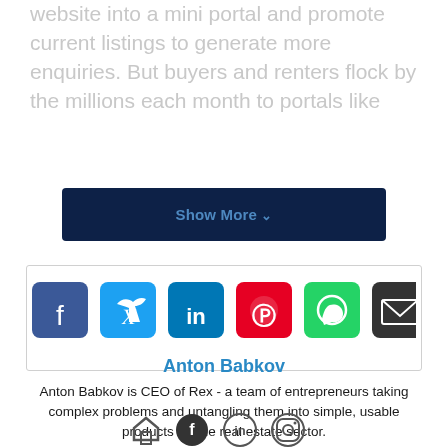website into a mini portal and promote current listings to generate more enquiries. But buyers and renters flock by the millions each month to portals like
Show More ∨
[Figure (other): Social share buttons: Facebook (blue), Twitter (light blue), LinkedIn (dark blue), Pinterest (red), WhatsApp (green), Email (dark gray)]
Anton Babkov
Anton Babkov is CEO of Rex - a team of entrepreneurs taking complex problems and untangling them into simple, usable products for the real estate sector.
[Figure (other): Social profile icons: home/website, Facebook, LinkedIn, Instagram]